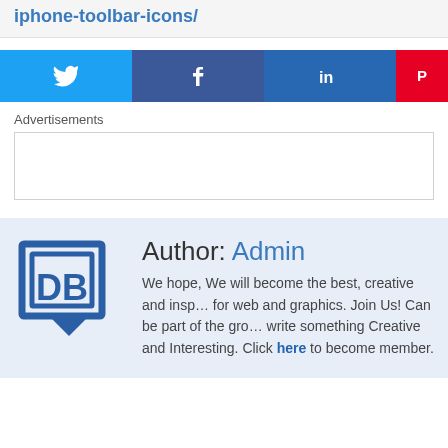iphone-toolbar-icons/
[Figure (infographic): Social share buttons row: Twitter (blue), Facebook (dark blue), LinkedIn (dark blue), Pinterest (red), each with their respective icons]
Advertisements
[Figure (other): Empty advertisement box with border]
Author: Admin
We hope, We will become the best, creative and inspiring site for web and graphics. Join Us! Can be part of the group, write something Creative and Interesting. Click here to become member.